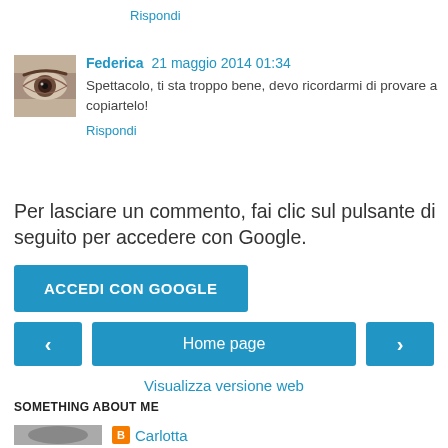Rispondi
[Figure (photo): Small avatar photo of Federica showing a close-up of an eye]
Federica 21 maggio 2014 01:34
Spettacolo, ti sta troppo bene, devo ricordarmi di provare a copiartelo!
Rispondi
Per lasciare un commento, fai clic sul pulsante di seguito per accedere con Google.
ACCEDI CON GOOGLE
‹
Home page
›
Visualizza versione web
SOMETHING ABOUT ME
[Figure (photo): Partial avatar/profile photo]
Carlotta